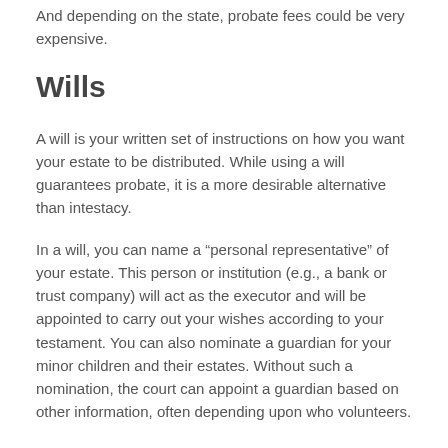And depending on the state, probate fees could be very expensive.
Wills
A will is your written set of instructions on how you want your estate to be distributed. While using a will guarantees probate, it is a more desirable alternative than intestacy.
In a will, you can name a “personal representative” of your estate. This person or institution (e.g., a bank or trust company) will act as the executor and will be appointed to carry out your wishes according to your testament. You can also nominate a guardian for your minor children and their estates. Without such a nomination, the court can appoint a guardian based on other information, often depending upon who volunteers.
A will can also set forth the trust terms, including